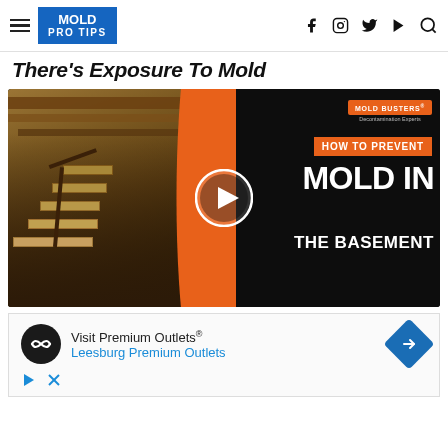MOLD PRO TIPS — navigation header with social icons
There's Exposure To Mold
[Figure (screenshot): Video thumbnail for 'How To Prevent Mold In The Basement' by Mold Busters — Decontamination Experts. Shows a basement with wooden stairs on the left half and dark background with orange/white text on the right half. A white play button circle is centered on the thumbnail.]
[Figure (screenshot): Advertisement banner for Visit Premium Outlets — Leesburg Premium Outlets, with a circular logo, navigation arrow icon in blue diamond shape, and ad control icons (play, close).]